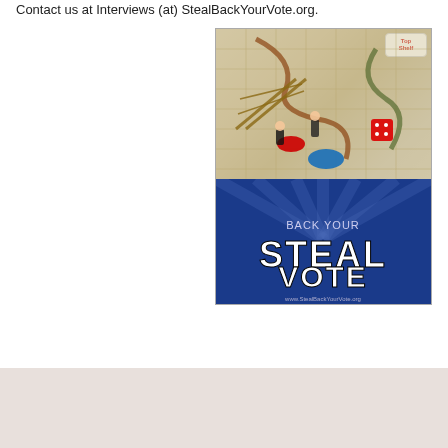Contact us at Interviews (at) StealBackYourVote.org.
[Figure (illustration): Board game cover image for 'Steal Back Your Vote' showing a snakes-and-ladders style board game with political figures, dice, and game pieces. Text reads 'STEAL BACK YOUR VOTE' and 'www.StealBackYourVote.org'. Top Shelf Productions logo in upper right corner.]
← Previous Entry
Full Site   Go to Mobile Site
Background by Jeremy Tinder. Top Shelf Productions® and the Top Shelf logo are registered trademarks of Top Shelf Productions, Inc. All rights reserved.